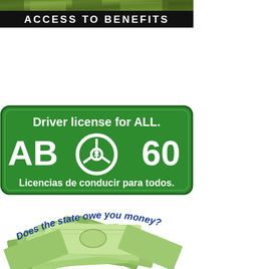[Figure (photo): Partial view of a nature/outdoor scene (trees/foliage), cropped at top of page]
[Figure (illustration): Black banner with white bold text reading 'ACCESS TO BENEFITS']
[Figure (illustration): Green road sign style graphic for AB60 California driver license law. Text: 'Driver license for ALL.' and 'AB 60' with a steering wheel icon and 'Licencias de conducir para todos.']
[Figure (illustration): Illustration of a pile of US dollar bills with curved blue italic text reading 'Does the state owe you money?']